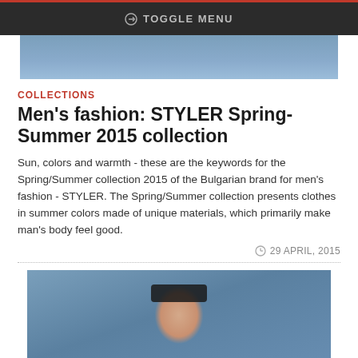TOGGLE MENU
[Figure (photo): Top portion of a man in a blue shirt, cropped at shoulders]
COLLECTIONS
Men's fashion: STYLER Spring-Summer 2015 collection
Sun, colors and warmth - these are the keywords for the Spring/Summer collection 2015 of the Bulgarian brand for men's fashion - STYLER. The Spring/Summer collection presents clothes in summer colors made of unique materials, which primarily make man's body feel good.
29 APRIL, 2015
[Figure (photo): Man wearing sunglasses and a blue shirt, close-up portrait]